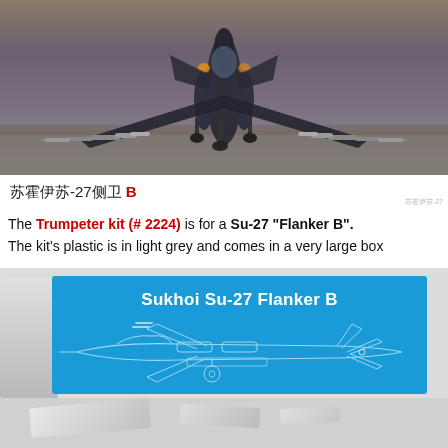[Figure (photo): Front-on photograph of a Sukhoi Su-27 Flanker B fighter jet taking off or landing, loaded with missiles on wing pylons, viewed from below/front angle on a runway.]
苏霍伊苏-27侧卫 B
The Trumpeter kit (# 2224) is for a Su-27 "Flanker B". The kit's plastic is in light grey and comes in a very large box
[Figure (photo): Photo of the Trumpeter model kit box for the Sukhoi Su-27 Flanker B. The box is blue with white text reading 'Sukhoi Su-27 Flanker B' and features a white line-drawing schematic of the aircraft on the blue box side.]